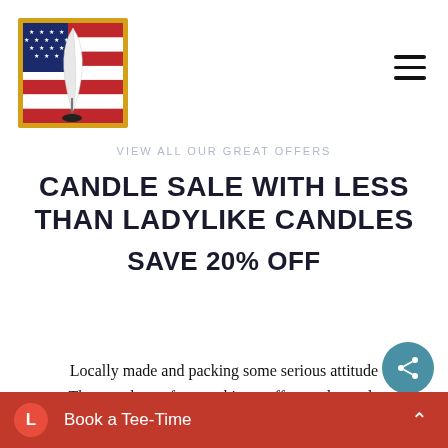[Figure (logo): American flag with quill pen logo in gold border square]
VIEW ALL OUR GREAT OFFERS
CANDLE SALE WITH LESS THAN LADYLIKE CANDLES SAVE 20% OFF
Locally made and packing some serious attitude These make perfect stocking stuffers and on sale now till Thursday.
Book a Tee-Time